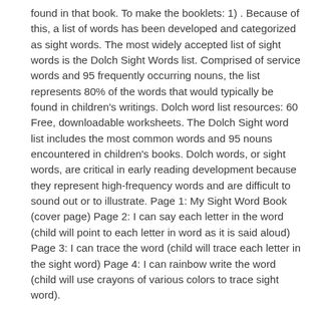found in that book. To make the booklets: 1) . Because of this, a list of words has been developed and categorized as sight words. The most widely accepted list of sight words is the Dolch Sight Words list. Comprised of service words and 95 frequently occurring nouns, the list represents 80% of the words that would typically be found in children's writings. Dolch word list resources: 60 Free, downloadable worksheets. The Dolch Sight word list includes the most common words and 95 nouns encountered in children's books. Dolch words, or sight words, are critical in early reading development because they represent high-frequency words and are difficult to sound out or to illustrate. Page 1: My Sight Word Book (cover page) Page 2: I can say each letter in the word (child will point to each letter in word as it is said aloud) Page 3: I can trace the word (child will trace each letter in the sight word) Page 4: I can rainbow write the word (child will use crayons of various colors to trace sight word).